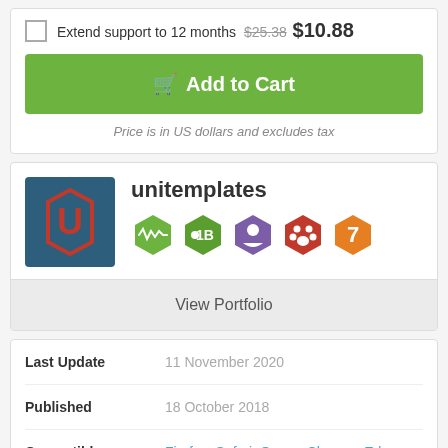Extend support to 12 months  $25.38  $10.88
Add to Cart
Price is in US dollars and excludes tax
unitemplates
View Portfolio
| Field | Value |
| --- | --- |
| Last Update | 11 November 2020 |
| Published | 18 October 2018 |
| Compatible Browsers | Firefox, Safari, Opera, Chrome, Edge |
| Compatible With | Bootstrap 4 |